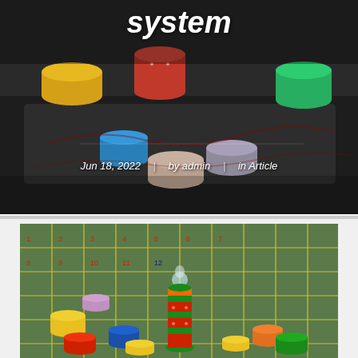[Figure (photo): Casino chips scattered on a dark gaming table, with colorful stacked chips of red, yellow, green, blue visible — header image for article about casino betting system]
system
Jun 18, 2022 | by admin | in Article
[Figure (photo): Roulette table with casino chips scattered around a tall stacked tower of colorful chips in the center, on a green felt gaming table with yellow grid lines]